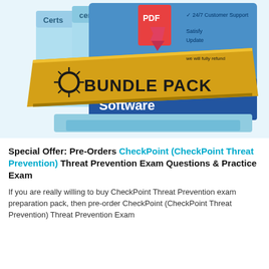[Figure (illustration): Bundle Pack product box image showing PTS Practice Test Software with gold banner reading 'BUNDLE PACK', PDF icon with ribbon, blue boxes labeled 'CertsCe...', checkmarks for '24/7 Customer Support', 'Satisfy', 'Update', and text 'we will fully refund']
Special Offer: Pre-Orders CheckPoint (CheckPoint Threat Prevention) Threat Prevention Exam Questions & Practice Exam
If you are really willing to buy CheckPoint Threat Prevention exam preparation pack, then pre-order CheckPoint (CheckPoint Threat Prevention) Threat Prevention Exam